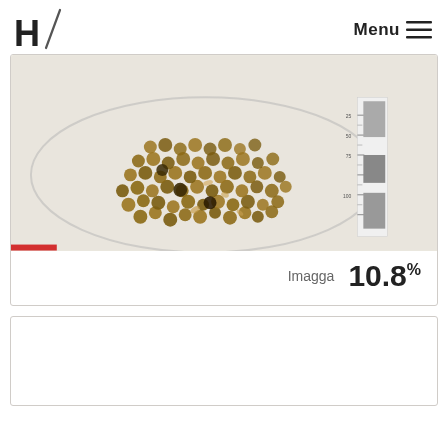H / Menu ≡
[Figure (photo): A glass petri dish filled with dried brown seeds/peppercorns of various sizes, with a color calibration scale ruler visible on the right side. White background. Red bar indicator at bottom left.]
Imagga   10.8%